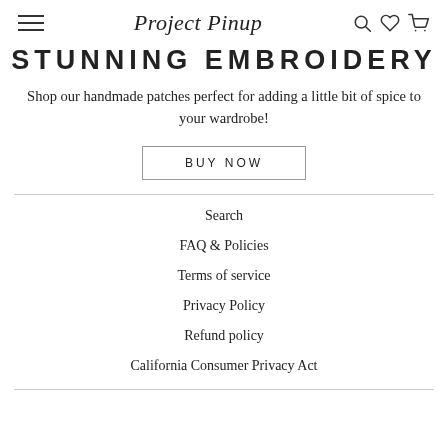Project Pinup
STUNNING EMBROIDERY
Shop our handmade patches perfect for adding a little bit of spice to your wardrobe!
BUY NOW
Search
FAQ & Policies
Terms of service
Privacy Policy
Refund policy
California Consumer Privacy Act